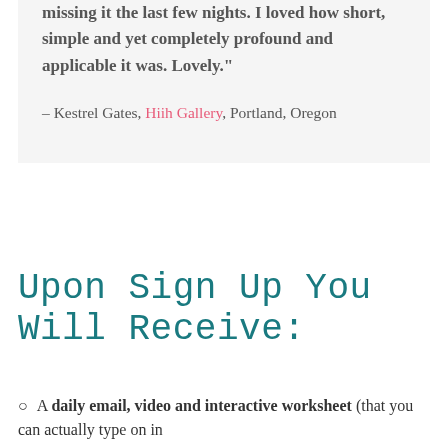missing it the last few nights. I loved how short, simple and yet completely profound and applicable it was. Lovely."
– Kestrel Gates, Hiih Gallery, Portland, Oregon
Upon Sign Up You Will Receive:
A daily email, video and interactive worksheet (that you can actually type on in